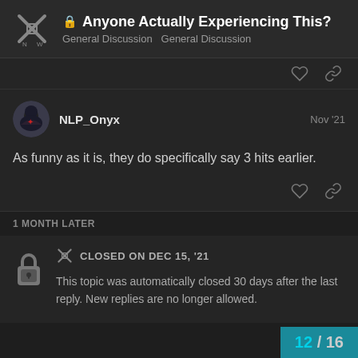Anyone Actually Experiencing This? General Discussion General Discussion
As funny as it is, they do specifically say 3 hits earlier.
1 MONTH LATER
CLOSED ON DEC 15, '21
This topic was automatically closed 30 days after the last reply. New replies are no longer allowed.
12 / 16